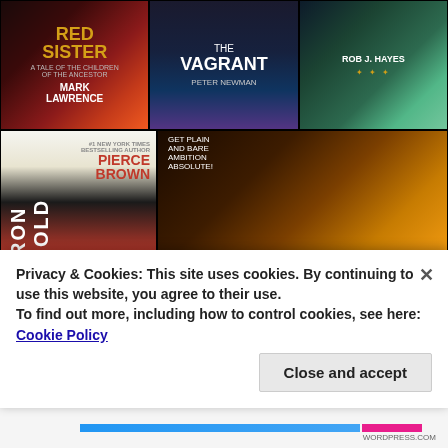[Figure (photo): Grid of fantasy/science fiction book covers including: Row 1: Red Sister by Mark Lawrence, The Vagrant by Peter Newman, and a third book by Rob J. Hayes. Row 2: Iron Gold by Pierce Brown (Red Rising Novel), and Sins of Empire by Brian McClellan. Row 3: A Brandon Sanderson book, another fantasy book ('Every shadow hides a secret...'), and The Well of Ascension (Book Two of Mistborn).]
Privacy & Cookies: This site uses cookies. By continuing to use this website, you agree to their use.
To find out more, including how to control cookies, see here: Cookie Policy